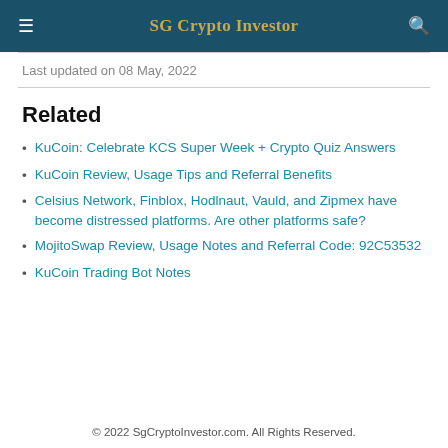SG Crypto Investor
Last updated on 08 May, 2022
Related
KuCoin: Celebrate KCS Super Week + Crypto Quiz Answers
KuCoin Review, Usage Tips and Referral Benefits
Celsius Network, Finblox, Hodlnaut, Vauld, and Zipmex have become distressed platforms. Are other platforms safe?
MojitoSwap Review, Usage Notes and Referral Code: 92C53532
KuCoin Trading Bot Notes
© 2022 SgCryptoInvestor.com. All Rights Reserved.